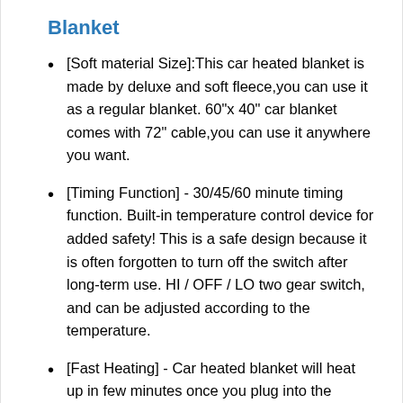Blanket
[Soft material Size]:This car heated blanket is made by deluxe and soft fleece,you can use it as a regular blanket. 60"x 40" car blanket comes with 72" cable,you can use it anywhere you want.
[Timing Function] - 30/45/60 minute timing function. Built-in temperature control device for added safety! This is a safe design because it is often forgotten to turn off the switch after long-term use. HI / OFF / LO two gear switch, and can be adjusted according to the temperature.
[Fast Heating] - Car heated blanket will heat up in few minutes once you plug into the cigarette lighter.Electric car blanket also has hi/mid/low